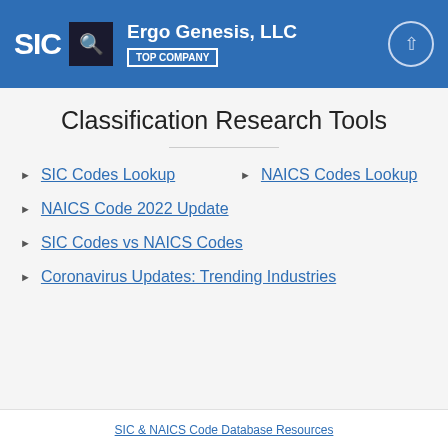SIC | Ergo Genesis, LLC | TOP COMPANY
Classification Research Tools
SIC Codes Lookup
NAICS Codes Lookup
NAICS Code 2022 Update
SIC Codes vs NAICS Codes
Coronavirus Updates: Trending Industries
SIC & NAICS Code Database Resources